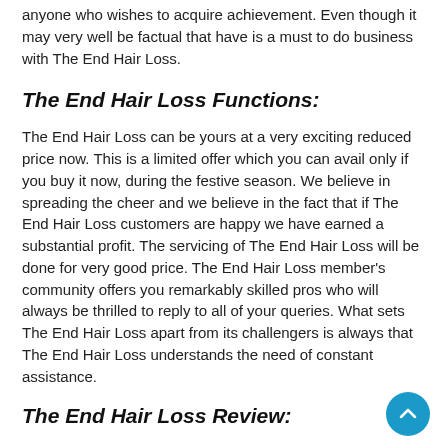anyone who wishes to acquire achievement. Even though it may very well be factual that have is a must to do business with The End Hair Loss.
The End Hair Loss Functions:
The End Hair Loss can be yours at a very exciting reduced price now. This is a limited offer which you can avail only if you buy it now, during the festive season. We believe in spreading the cheer and we believe in the fact that if The End Hair Loss customers are happy we have earned a substantial profit. The servicing of The End Hair Loss will be done for very good price. The End Hair Loss member's community offers you remarkably skilled pros who will always be thrilled to reply to all of your queries. What sets The End Hair Loss apart from its challengers is always that The End Hair Loss understands the need of constant assistance.
The End Hair Loss Review: